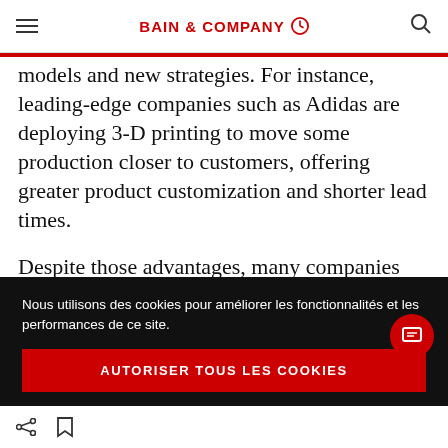BAIN & COMPANY
models and new strategies. For instance, leading-edge companies such as Adidas are deploying 3-D printing to move some production closer to customers, offering greater product customization and shorter lead times.
Despite those advantages, many companies are struggling to keep pace with an onslaught of
Nous utilisons des cookies pour améliorer les fonctionnalités et les performances de ce site.
AUTORISER TOUS LES COOKIES